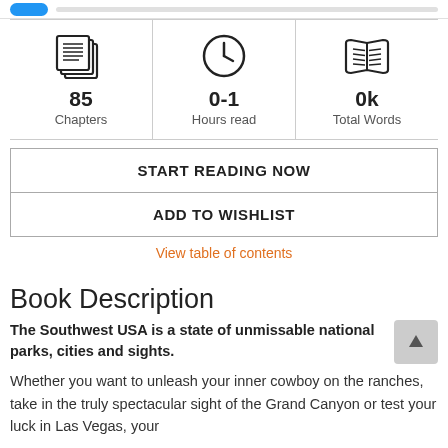[Figure (infographic): Three stats displayed in a row: 85 Chapters (pages icon), 0-1 Hours read (clock icon), 0k Total Words (open book icon)]
START READING NOW
ADD TO WISHLIST
View table of contents
Book Description
The Southwest USA is a state of unmissable national parks, cities and sights.
Whether you want to unleash your inner cowboy on the ranches, take in the truly spectacular sight of the Grand Canyon or test your luck in Las Vegas, your